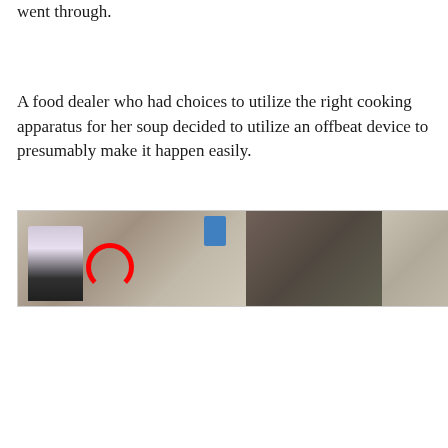went through.
A food dealer who had choices to utilize the right cooking apparatus for her soup decided to utilize an offbeat device to presumably make it happen easily.
[Figure (photo): A wide panoramic strip photo showing a street food scene with a woman cooking outdoors, with a red circle highlighting something in the image, containers and market stalls visible in the background.]